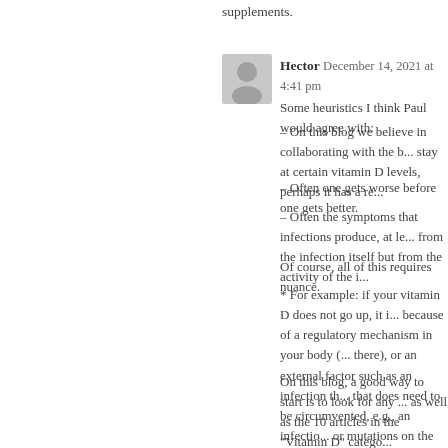supplements.
Hector December 14, 2021 at 4:41 pm
Some heuristics I think Paul would agree with:
– On this blog we believe in collaborating with the body. If it wants to stay at certain vitamin D levels, perhaps it has a re...
– Often one gets worse before one gets better.
– Often the symptoms that infections produce, at le... from the infection itself but from the activity of the i...
Of course, all of this requires nuance.
* For example: if your vitamin D does not go up, it ... because of a regulatory mechanism in your body (... there), or an external factor such as an infection th... that does need to be circumvented, e.g., an infectio... or mutations on the pertinent gens.
On this blog, a good way to start is to look for any ... as well as the 10 articles in the "Vitamin D" catego... experiences on the Internet, and relevant articles i... D interacts with, and whether it may be a cofactor f... give clues, such as your 1,25D levels or your PTH,... them in context.
However, often problems require a pragmatic appr... are difficult, or else we just don't know enough.
So I suggest that you make decisions with a positiv... narrow the possibilities. Here two examples: